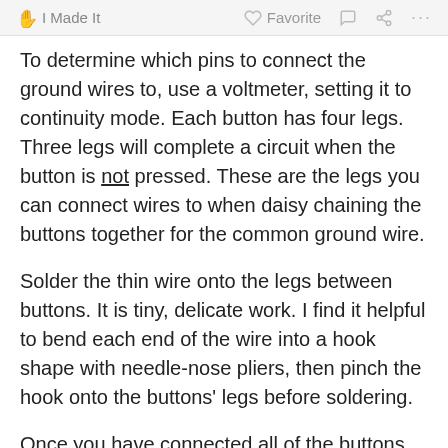I Made It   Favorite   ... ...
To determine which pins to connect the ground wires to, use a voltmeter, setting it to continuity mode. Each button has four legs. Three legs will complete a circuit when the button is not pressed. These are the legs you can connect wires to when daisy chaining the buttons together for the common ground wire.
Solder the thin wire onto the legs between buttons. It is tiny, delicate work. I find it helpful to bend each end of the wire into a hook shape with needle-nose pliers, then pinch the hook onto the buttons' legs before soldering.
Once you have connected all of the buttons with a common ground wire, test continuity between the first and last buttons in the chain. You should have